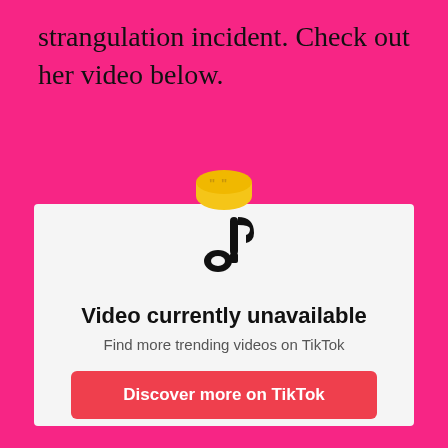strangulation incident. Check out her video below.
[Figure (illustration): TikTok music note emoji icon (yellow bowl shape with quotation marks)]
[Figure (screenshot): TikTok embedded video placeholder showing TikTok logo, 'Video currently unavailable', 'Find more trending videos on TikTok', and a red 'Discover more on TikTok' button]